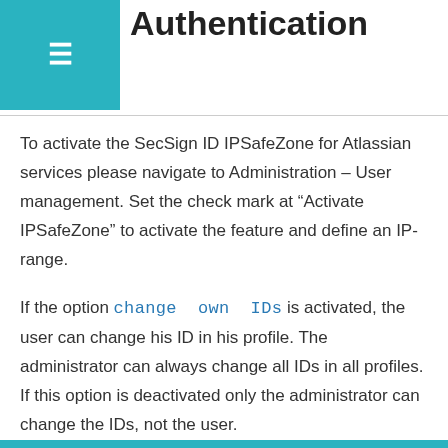Activate Two-Step Authentication
To activate the SecSign ID IPSafeZone for Atlassian services please navigate to Administration – User management. Set the check mark at “Activate IPSafeZone” to activate the feature and define an IP-range.
If the option change own IDs is activated, the user can change his ID in his profile. The administrator can always change all IDs in all profiles. If this option is deactivated only the administrator can change the IDs, not the user.